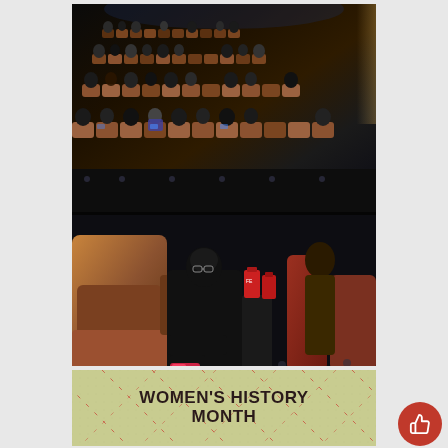[Figure (photo): Two photos stacked vertically: Top photo shows a movie theater with rows of brown recliner seats filled with audience members watching a film in a darkened cinema. Bottom photo shows a close-up of cinema recliners with a person in black clothing seated, and red movie cups visible on side tables. Below these photos is a banner reading 'WOMEN'S HISTORY MONTH' on a light green/yellow textured background with diagonal dotted red lines. A red circular thumbs-up like button is overlaid in the bottom right corner.]